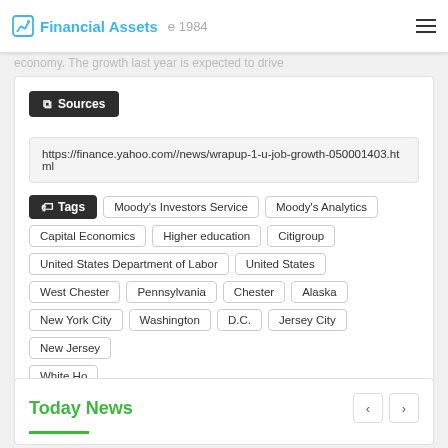Financial Assets
economy. The growth last year is expected to drive... since 1984
Sources
https://finance.yahoo.com//news/wrapup-1-u-job-growth-050001403.html
Tags: Moody's Investors Service | Moody's Analytics | Capital Economics | Higher education | Citigroup | United States Department of Labor | United States | West Chester | Pennsylvania | Chester | Alaska | New York City | Washington | D.C. | Jersey City | New Jersey | White Ho
Today News